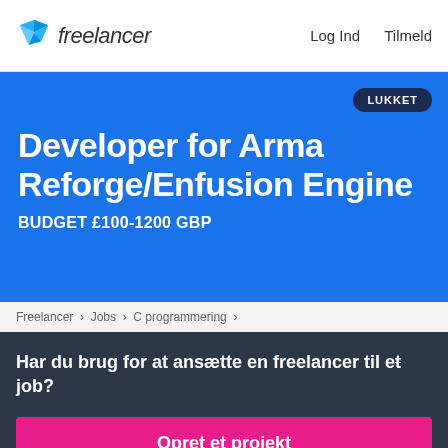freelancer  Log Ind  Tilmeld
Developer for Arma Reforge/Enfusion Engine
BUDGET £100-1200 GBP
LUKKET
Freelancer › Jobs › C programmering ›
Har du brug for at ansætte en freelancer til et job?
Opret et projekt